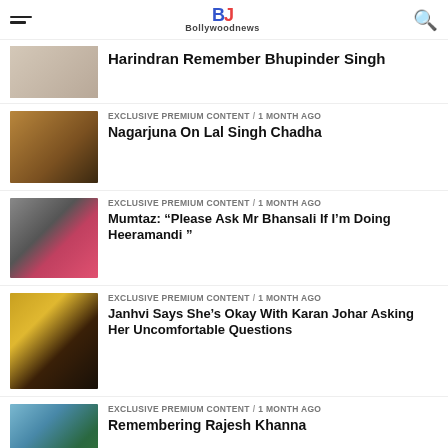Bollywoodnews
Harindran Remember Bhupinder Singh
EXCLUSIVE PREMIUM CONTENT / 1 month ago
Nagarjuna On Lal Singh Chadha
EXCLUSIVE PREMIUM CONTENT / 1 month ago
Mumtaz: “Please Ask Mr Bhansali If I’m Doing Heeramandi”
EXCLUSIVE PREMIUM CONTENT / 1 month ago
Janhvi Says She’s Okay With Karan Johar Asking Her Uncomfortable Questions
EXCLUSIVE PREMIUM CONTENT / 1 month ago
Remembering Rajesh Khanna
UNKNOWN FACTS / 1 month ago